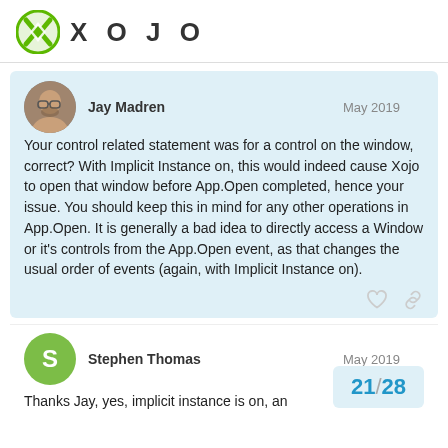XOJO
Jay Madren   May 2019
Your control related statement was for a control on the window, correct? With Implicit Instance on, this would indeed cause Xojo to open that window before App.Open completed, hence your issue. You should keep this in mind for any other operations in App.Open. It is generally a bad idea to directly access a Window or it's controls from the App.Open event, as that changes the usual order of events (again, with Implicit Instance on).
Stephen Thomas   May 2019
Thanks Jay, yes, implicit instance is on, an